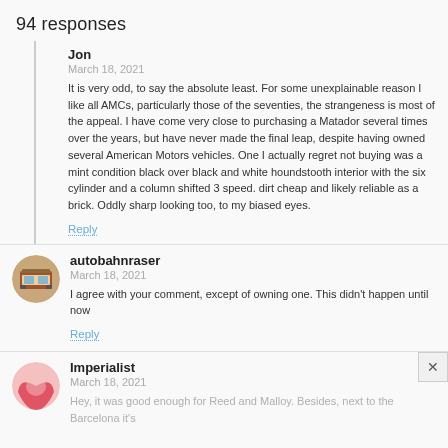94 responses
Jon
March 18, 2021

It is very odd, to say the absolute least. For some unexplainable reason I like all AMCs, particularly those of the seventies, the strangeness is most of the appeal. I have come very close to purchasing a Matador several times over the years, but have never made the final leap, despite having owned several American Motors vehicles. One I actually regret not buying was a mint condition black over black and white houndstooth interior with the six cylinder and a column shifted 3 speed. dirt cheap and likely reliable as a brick. Oddly sharp looking too, to my biased eyes.

Reply
autobahnraser
March 18, 2021

I agree with your comment, except of owning one. This didn't happen until now

Reply
Imperialist
March 18, 2021

Hey, it was good enough for Reed and Malloy. Besides, next to the Barcelona it's